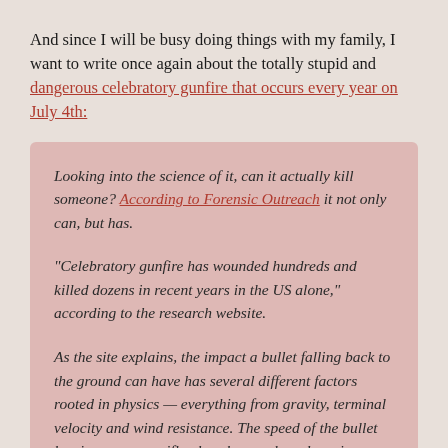And since I will be busy doing things with my family, I want to write once again about the totally stupid and dangerous celebratory gunfire that occurs every year on July 4th:
Looking into the science of it, can it actually kill someone? According to Forensic Outreach it not only can, but has.

"Celebratory gunfire has wounded hundreds and killed dozens in recent years in the US alone," according to the research website.

As the site explains, the impact a bullet falling back to the ground can have has several different factors rooted in physics — everything from gravity, terminal velocity and wind resistance. The speed of the bullet leaving a gun or rifle also changes based on size or caliber but is estimated at anywhere from 1,500 feet per second to 2,900 feet per second.